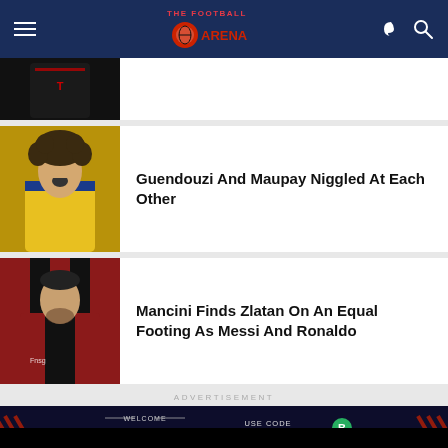THE FOOTBALL ARENA
[Figure (photo): Partial view of a dark football kit with a T-Mobile logo]
[Figure (photo): Matteo Guendouzi in yellow Arsenal goalkeeper kit, mouth open, curly hair]
Guendouzi And Maupay Niggled At Each Other
[Figure (photo): Zlatan Ibrahimovic in AC Milan red and black striped kit]
Mancini Finds Zlatan On An Equal Footing As Messi And Ronaldo
ADVERTISEMENT
[Figure (infographic): BUAKSIB advertisement banner: WELCOME 100% BONUS ON 1ST DEPOSIT, USE CODE IPL2022, MIN DEP: 50]